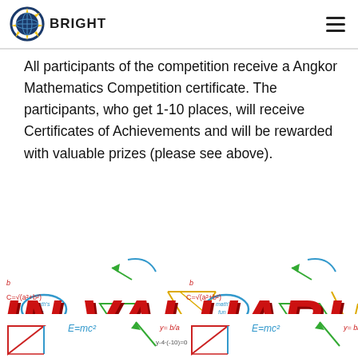BRIGHT
All participants of the competition receive a Angkor Mathematics Competition certificate. The participants, who get 1-10 places, will receive Certificates of Achievements and will be rewarded with valuable prizes (please see above).
[Figure (illustration): Repeated decorative math doodle strip with handwritten math formulas (C=sqrt(a^2+b^2), geometric shapes, angles) in blue, red, green, yellow on white background, with large bold red italic text overlay reading 'IN VALUABLE PRIZE']
[Figure (illustration): Bottom decorative strip with handwritten math formulas E=mc2 and geometric triangles in blue, red, green on white background]